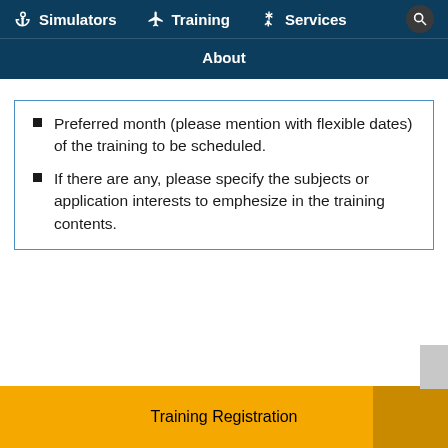Simulators | Training | Services | About
Preferred month (please mention with flexible dates) of the training to be scheduled.
If there are any, please specify the subjects or application interests to emphesize in the training contents.
Training Registration